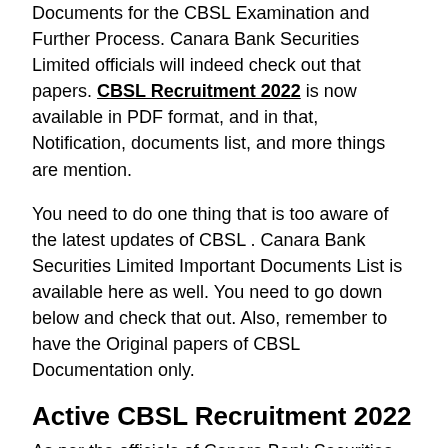Documents for the CBSL Examination and Further Process. Canara Bank Securities Limited officials will indeed check out that papers. CBSL Recruitment 2022 is now available in PDF format, and in that, Notification, documents list, and more things are mention.
You need to do one thing that is too aware of the latest updates of CBSL . Canara Bank Securities Limited Important Documents List is available here as well. You need to go down below and check that out. Also, remember to have the Original papers of CBSL Documentation only.
Active CBSL Recruitment 2022
As per the officials of Canara Bank Securities Limited, there are so many vacant Posts